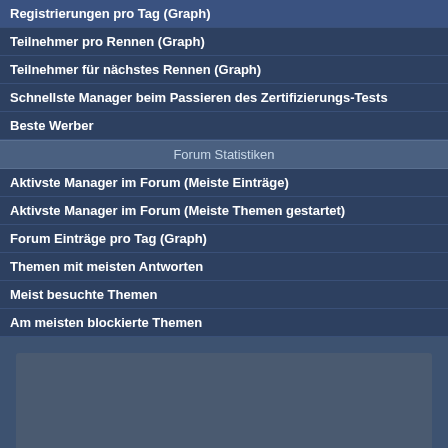Registrierungen pro Tag (Graph)
Teilnehmer pro Rennen (Graph)
Teilnehmer für nächstes Rennen (Graph)
Schnellste Manager beim Passieren des Zertifizierungs-Tests
Beste Werber
Forum Statistiken
Aktivste Manager im Forum (Meiste Einträge)
Aktivste Manager im Forum (Meiste Themen gestartet)
Forum Einträge pro Tag (Graph)
Themen mit meisten Antworten
Meist besuchte Themen
Am meisten blockierte Themen
[Figure (other): Gray advertisement/content box]
Alle, die Show starter on Bucharest Ring erreich (Häufigkeit des Erfolgs: 1 a
Seite [1] 2 3 ... 50 51 52 »
| Manager | Gruppe |
| --- | --- |
| Karl-Martin Müür | Master - 1 |
| Martin Seppam | Retired |
| Tom Parker | Pro - 23 |
|  |  |